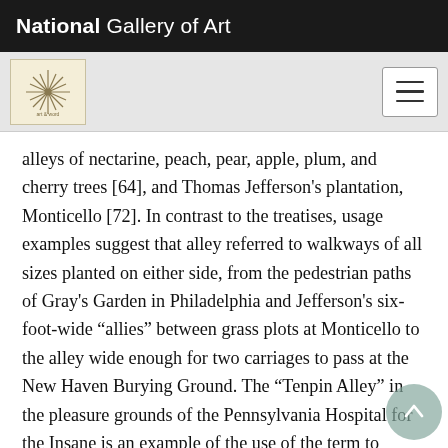National Gallery of Art
alleys of nectarine, peach, pear, apple, plum, and cherry trees [64], and Thomas Jefferson's plantation, Monticello [72]. In contrast to the treatises, usage examples suggest that alley referred to walkways of all sizes planted on either side, from the pedestrian paths of Gray's Garden in Philadelphia and Jefferson's six-foot-wide “allies” between grass plots at Monticello to the alley wide enough for two carriages to pass at the New Haven Burying Ground. The “Tenpin Alley” in the pleasure grounds of the Pennsylvania Hospital for the Insane is an example of the use of the term to describe a site for bowling that looks completely different from the more